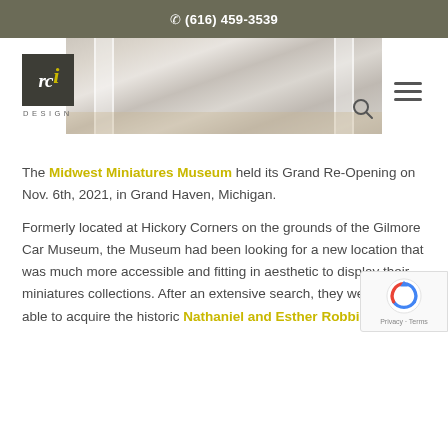(616) 459-3539
[Figure (photo): Interior room photo showing white columns and light wood floor, partially visible behind logo overlay]
The Midwest Miniatures Museum held its Grand Re-Opening on Nov. 6th, 2021, in Grand Haven, Michigan.
Formerly located at Hickory Corners on the grounds of the Gilmore Car Museum, the Museum had been looking for a new location that was much more accessible and fitting in aesthetic to display their miniatures collections. After an extensive search, they were finally able to acquire the historic Nathaniel and Esther Robbins